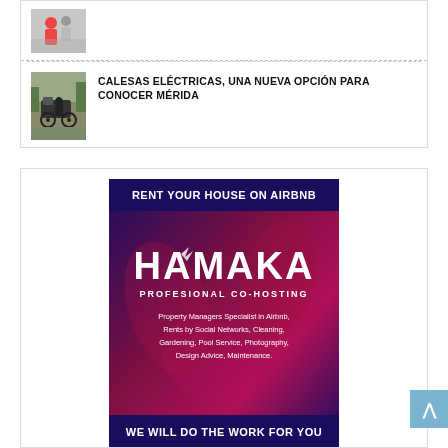[Figure (photo): Small thumbnail photo of people in costumes, partially visible]
[Figure (photo): Photo of a vintage horse-drawn electric calesa carriage on a street]
CALESAS ELÉCTRICAS, UNA NUEVA OPCIÓN PARA CONOCER MÉRIDA
[Figure (infographic): Advertisement banner for Hamaka Profesional Co-Hosting Airbnb service. Top dark blue bar: RENT YOUR HOUSE ON AIRBNB. Large HAMAKA logo text. Subtitle: PROFESIONAL CO-HOSTING. Body text: Property Managers Specialist in Airbnb, Rents by Social Networks, Cleaning, Gardening, Pool Service, Photography, Design Advice, Maintenance. Bottom bar: WE WILL DO THE WORK FOR YOU]